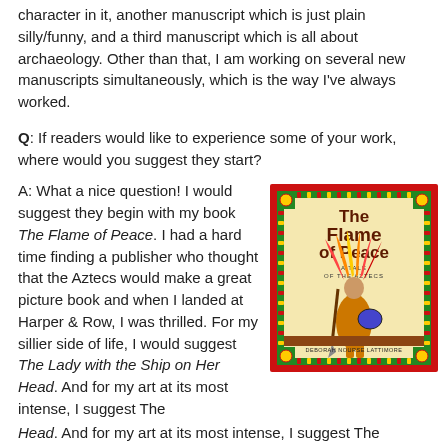character in it, another manuscript which is just plain silly/funny, and a third manuscript which is all about archaeology. Other than that, I am working on several new manuscripts simultaneously, which is the way I've always worked.
Q: If readers would like to experience some of your work, where would you suggest they start?
A: What a nice question! I would suggest they begin with my book The Flame of Peace. I had a hard time finding a publisher who thought that the Aztecs would make a great picture book and when I landed at Harper & Row, I was thrilled. For my sillier side of life, I would suggest The Lady with the Ship on Her Head. And for my art at its most intense, I suggest The
[Figure (illustration): Book cover of 'The Flame of Peace: A Tale of the Aztecs' by Deborah Nourse Lattimore, featuring an Aztec warrior figure with colorful headdress against a cream background, surrounded by a green and red decorative border.]